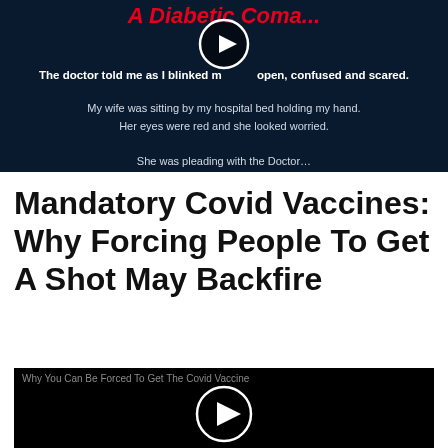[Figure (screenshot): A dark blue/black video thumbnail showing text about a diabetic coma story, with a circular play button overlay. Red italic title 'A Diabetic Coma...' at top, white bold text below, and subdued descriptive sentences about a hospital scene.]
Mandatory Covid Vaccines: Why Forcing People To Get A Shot May Backfire
[Figure (screenshot): A black video player with the label 'Why You Can Be Forced To Get The Covid Vaccine' in gray text at top left, and a white circular play button in the center.]